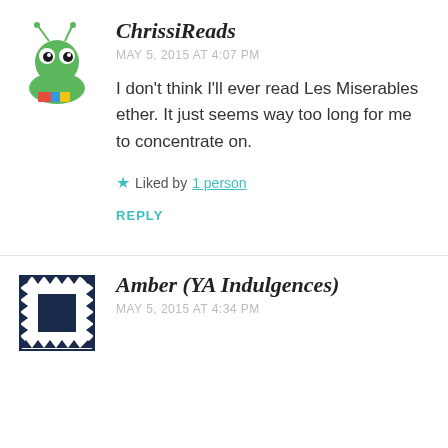[Figure (illustration): Green cartoon caterpillar avatar for user ChrissiReads]
ChrissiReads
MAY 5, 2015 AT 4:07 PM
I don't think I'll ever read Les Miserables ether. It just seems way too long for me to concentrate on.
★ Liked by 1 person
REPLY
[Figure (illustration): Dark navy geometric quilt-pattern avatar for user Amber (YA Indulgences)]
Amber (YA Indulgences)
MAY 5, 2015 AT 4:34 PM